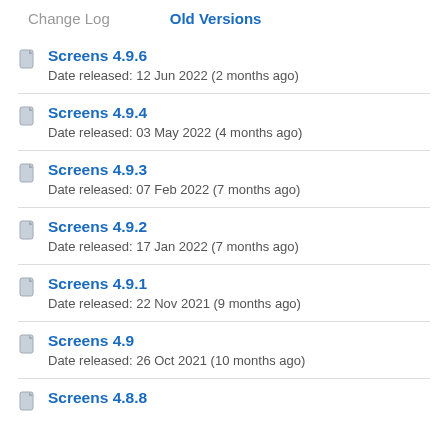Change Log   Old Versions
Screens 4.9.6
Date released: 12 Jun 2022 (2 months ago)
Screens 4.9.4
Date released: 03 May 2022 (4 months ago)
Screens 4.9.3
Date released: 07 Feb 2022 (7 months ago)
Screens 4.9.2
Date released: 17 Jan 2022 (7 months ago)
Screens 4.9.1
Date released: 22 Nov 2021 (9 months ago)
Screens 4.9
Date released: 26 Oct 2021 (10 months ago)
Screens 4.8.8